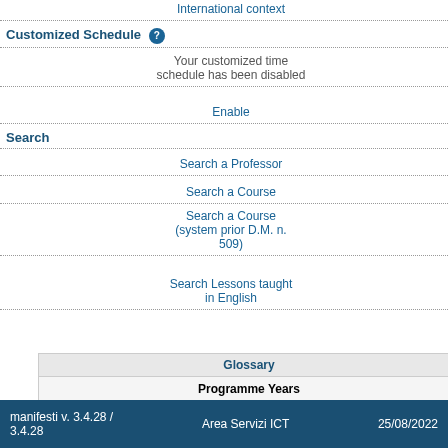International context
Customized Schedule
Your customized time schedule has been disabled
Enable
Search
Search a Professor
Search a Course
Search a Course (system prior D.M. n. 509)
Search Lessons taught in English
| Programme Years |
| --- |
| (red circle) | The track is inactive for the context programme year |
| (green circle) | The track is active for the context programme year |
| School | Dean of the School | Degree level | Name | Years of the programme already activated | Class of degree | Coordinator of the Study programme | Official language(s) |
| --- | --- | --- | --- | --- | --- | --- | --- |
| Ingegneria Industriale e... http://www.ingindinf.poli... |
| Giovanni Gustavo Lozza |
| Laurea Magistrale (Equ... Ordinamento 270/04 |
| Computer Science and Engineering (481) | C... |
| 1 | C... t... |
| LM-32 - Computer syste... |
| Gianpaolo Cugola |
| English |
| Track Code | Track description |
| --- | --- |
| T2A | COMPUTER SCIENCE AND ENGINEER... |
manifesti v. 3.4.28 / 3.4.28    Area Servizi ICT    25/08/2022